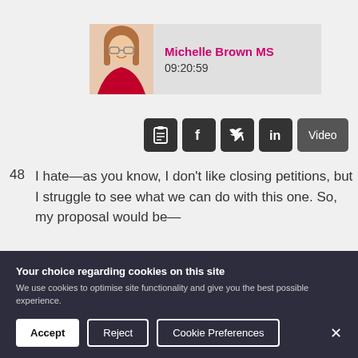[Figure (photo): Headshot photo of Michelle Brown MS, a woman with auburn/blonde hair wearing a red jacket]
Michelle Brown MS
09:20:59
[Figure (infographic): Social sharing buttons: clipboard/transcript icon, Facebook icon, Twitter icon, LinkedIn icon, and Video button]
48   I hate—as you know, I don't like closing petitions, but I struggle to see what we can do with this one. So, my proposal would be—
Your choice regarding cookies on this site
We use cookies to optimise site functionality and give you the best possible experience.
Accept   Reject   Cookie Preferences   ×